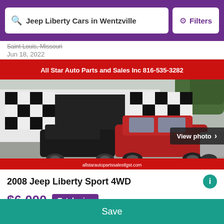Jeep Liberty Cars in Wentzville | Filters
Saint Louis, Missouri
Jun 18, 2022
[Figure (photo): Dealership lot photo showing multiple vehicles including a red Jeep Liberty SUV in front of a building with checkered race flag pattern. Banner reads: All Star Auto Parts and Sales Inc 816-535-3282]
2008 Jeep Liberty Sport 4WD
$6,000  Total price
Save